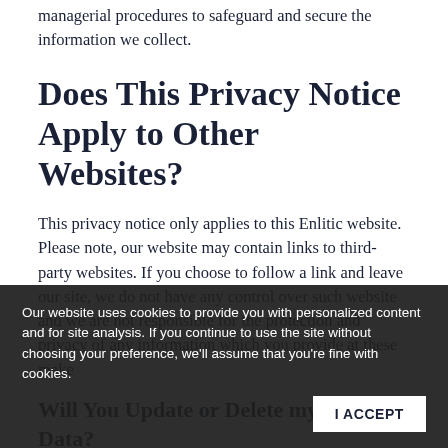managerial procedures to safeguard and secure the information we collect.
Does This Privacy Notice Apply to Other Websites?
This privacy notice only applies to this Enlitic website. Please note, our website may contain links to third-party websites. If you choose to follow a link and leave our site, we do not have any control over such website and we are not responsible for the protection and privacy of any information which you provide at these make
Will You Update or Delete my Personal Data?
You may request details of personal information
Our website uses cookies to provide you with personalized content and for site analysis. If you continue to use the site without choosing your preference, we'll assume that you're fine with cookies.